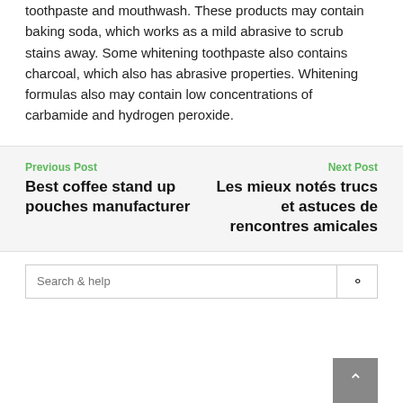toothpaste and mouthwash. These products may contain baking soda, which works as a mild abrasive to scrub stains away. Some whitening toothpaste also contains charcoal, which also has abrasive properties. Whitening formulas also may contain low concentrations of carbamide and hydrogen peroxide.
Previous Post
Best coffee stand up pouches manufacturer
Next Post
Les mieux notés trucs et astuces de rencontres amicales
Search & help